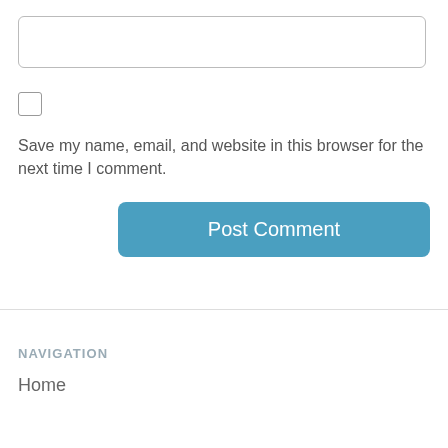[Figure (other): Empty text input box with rounded border]
[Figure (other): Empty checkbox (unchecked)]
Save my name, email, and website in this browser for the next time I comment.
[Figure (other): Blue 'Post Comment' button]
NAVIGATION
Home